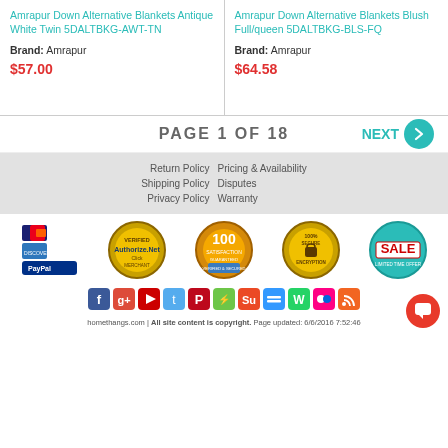Amrapur Down Alternative Blankets Antique White Twin 5DALTBKG-AWT-TN
Brand: Amrapur
$57.00
Amrapur Down Alternative Blankets Blush Full/queen 5DALTBKG-BLS-FQ
Brand: Amrapur
$64.58
PAGE 1 OF 18
NEXT
Return Policy  Pricing & Availability  Shipping Policy  Disputes  Privacy Policy  Warranty
[Figure (infographic): Payment and trust badges: Visa/Mastercard/AmEx/Discover/PayPal, Authorize.Net Verified Merchant, 100 Day Guarantee Verified & Secured, 100% Secure Encryption, Sale Limited Time Offer]
[Figure (infographic): Social media icons: Facebook, Google+, YouTube, Twitter, Pinterest, Chime, StumbleUpon, Delicious, WhatsApp, Flickr, RSS]
homethangs.com | All site content is copyright. Page updated: 6/6/2016 7:52:46